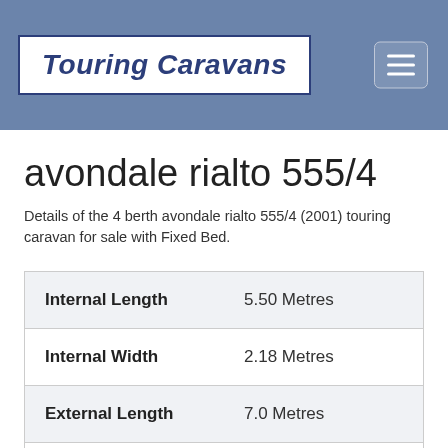Touring Caravans
avondale rialto 555/4
Details of the 4 berth avondale rialto 555/4 (2001) touring caravan for sale with Fixed Bed.
|  |  |
| --- | --- |
| Internal Length | 5.50 Metres |
| Internal Width | 2.18 Metres |
| External Length | 7.0 Metres |
| MTPLM | 1340 Kgs |